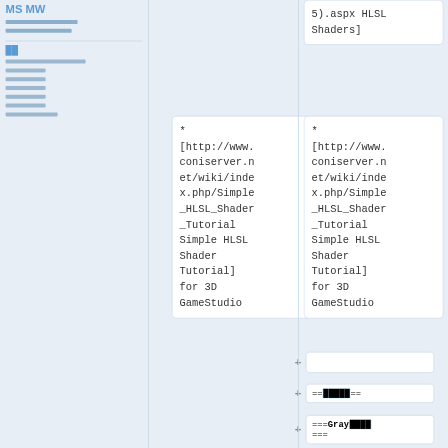MS MW
████████
████████
██
████████
████
████
████
████
████
█████
* [http://www.coniserver.net/wiki/index.php/Simple_HLSL_Shader_Tutorial Simple HLSL Shader Tutorial] for 3D GameStudio
* [http://www.coniserver.net/wiki/index.php/Simple_HLSL_Shader_Tutorial Simple HLSL Shader Tutorial] for 3D GameStudio
5).aspx HLSL Shaders]
+
==█████==
===Gray████████===